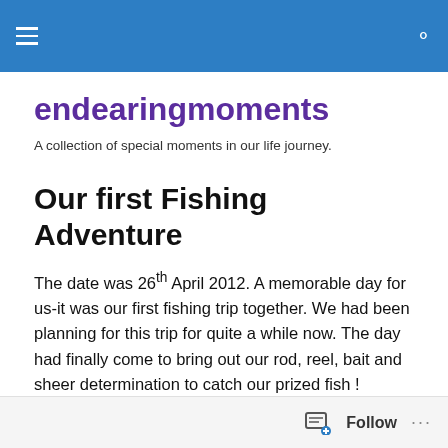endearingmoments — site navigation header
endearingmoments
A collection of special moments in our life journey.
Our first Fishing Adventure
The date was 26th April 2012. A memorable day for us-it was our first fishing trip together. We had been planning for this trip for quite a while now. The day had finally come to bring out our rod, reel, bait and sheer determination to catch our prized fish !
Follow